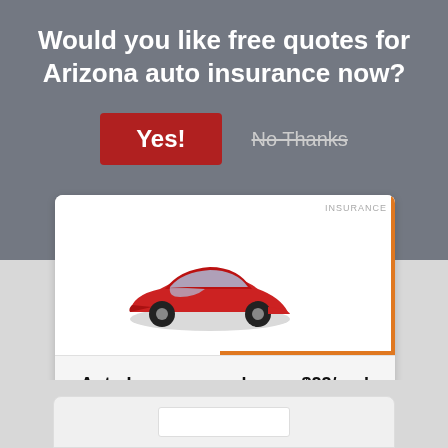Would you like free quotes for Arizona auto insurance now?
Yes!
No Thanks
[Figure (photo): Red sports car image inside an ad card]
Auto Insurance as low as $23/mo!
www.insurance.io
View My Quote
COMPARE RATES